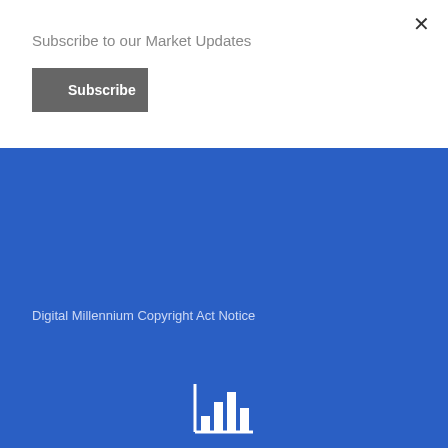Subscribe to our Market Updates
Subscribe
×
Digital Millennium Copyright Act Notice
[Figure (illustration): Bar chart icon in white on blue background]
Home Valuation
I can help!
[Figure (illustration): Envelope/mail icon in white on blue background, partially visible]